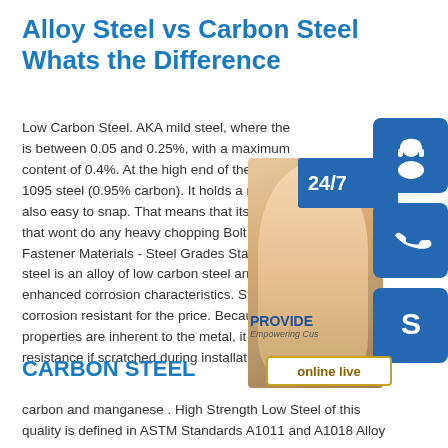Alloy Steel vs Carbon Steel Whats the Difference
Low Carbon Steel. AKA mild steel, where the is between 0.05 and 0.25%, with a maximum content of 0.4%. At the high end of the spect 1095 steel (0.95% carbon). It holds a really g also easy to snap. That means that its good t that wont do any heavy chopping Bolt Depot Fastener Materials - Steel Grades Stainless S steel is an alloy of low carbon steel and chro enhanced corrosion characteristics. Stainless corrosion resistant for the price. Because the properties are inherent to the metal, it will not lose this resistance if scratched during installation or use.
[Figure (infographic): Customer support widget overlay showing a headset agent photo, 24/7 banner, headset icon box, phone icon box, Skype icon box, PROVIDE Empowering Customers text, and online live button]
CARBON STEEL
carbon and manganese . High Strength Low Steel of this quality is defined in ASTM Standards A1011 and A1018 Alloy